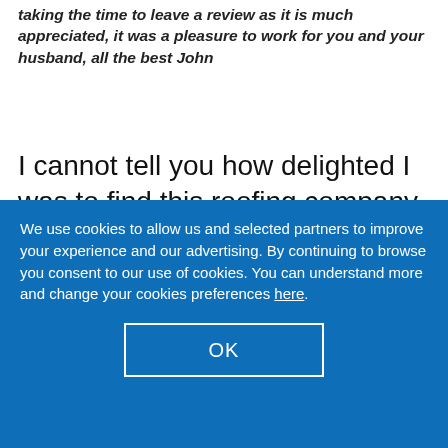taking the time to leave a review as it is much appreciated, it was a pleasure to work for you and your husband, all the best John
I cannot tell you how delighted I was to find this roofing company. I phoned up several businesses and John was the only person to come out and give us a quote. We used Roofcare (Midlands) Ltd to fix faulty guttering
We use cookies to allow us and selected partners to improve your experience and our advertising. By continuing to browse you consent to our use of cookies. You can understand more and change your cookies preferences here.